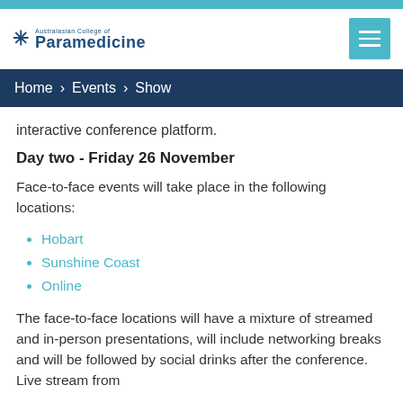[Figure (logo): Australasian College of Paramedicine logo with star-of-life icon]
Home > Events > Show
interactive conference platform.
Day two - Friday 26 November
Face-to-face events will take place in the following locations:
Hobart
Sunshine Coast
Online
The face-to-face locations will have a mixture of streamed and in-person presentations, will include networking breaks and will be followed by social drinks after the conference. Live stream from